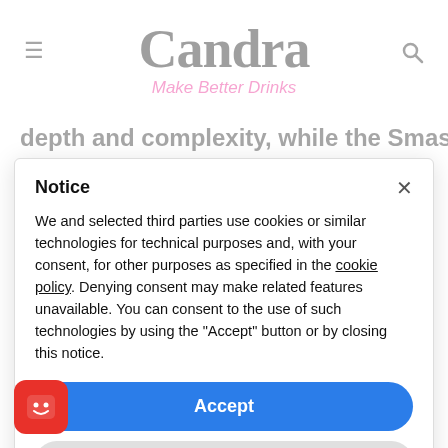Candra — Make Better Drinks (website header with hamburger menu and search icon)
depth and complexity, while the Smashapple
Notice
We and selected third parties use cookies or similar technologies for technical purposes and, with your consent, for other purposes as specified in the cookie policy. Denying consent may make related features unavailable. You can consent to the use of such technologies by using the "Accept" button or by closing this notice.
Accept
Learn more and customize